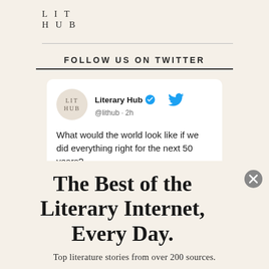LIT HUB
FOLLOW US ON TWITTER
[Figure (screenshot): Tweet card from Literary Hub (@lithub) posted 2h ago reading: 'What would the world look like if we did everything right for the next 50 years?']
The Best of the Literary Internet, Every Day.
Top literature stories from over 200 sources.